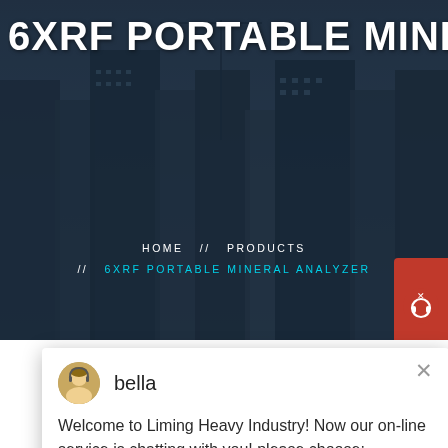6XRF PORTABLE MINERAL ANALYZER
HOME // PRODUCTS // 6XRF PORTABLE MINERAL ANALYZER
[Figure (screenshot): Chat popup from Liming Heavy Industry website showing agent avatar named 'bella' with message: Welcome to Liming Heavy Industry! Now our on-line service is chatting with you! please choose: 1.English]
Latest Projects
[Figure (photo): Industrial machinery / mining equipment at a construction or quarry site]